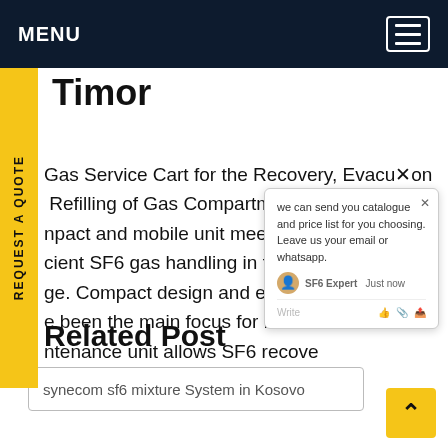MENU
Timor
SF6 Gas Service Cart for the Recovery, Evacuation and Refilling of Gas Compartments i... compact and mobile unit meets all ... for efficient SF6 gas handling in the me... Compact design and ergono... been the main focus for its ... the ntenance unit allows SF6 recove... Get price
Related Post
synecom sf6 mixture System in Kosovo